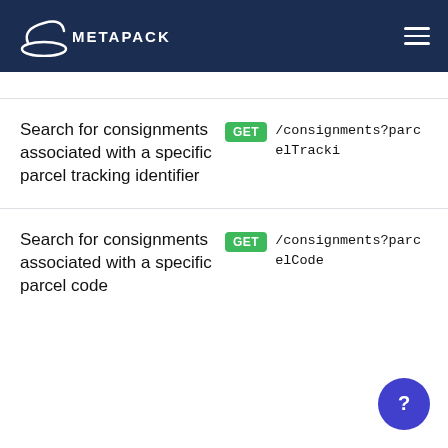METAPACK
Search for consignments associated with a specific parcel tracking identifier
GET /consignments?parcelTracki
Search for consignments associated with a specific parcel code
GET /consignments?parcelCode